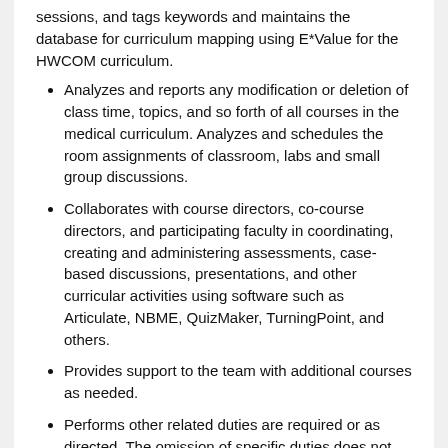sessions, and tags keywords and maintains the database for curriculum mapping using E*Value for the HWCOM curriculum.
Analyzes and reports any modification or deletion of class time, topics, and so forth of all courses in the medical curriculum. Analyzes and schedules the room assignments of classroom, labs and small group discussions.
Collaborates with course directors, co-course directors, and participating faculty in coordinating, creating and administering assessments, case- based discussions, presentations, and other curricular activities using software such as Articulate, NBME, QuizMaker, TurningPoint, and others.
Provides support to the team with additional courses as needed.
Performs other related duties are required or as directed. The omission of specific duties does not preclude the supervisor from assigning duties that are logically related to the position.